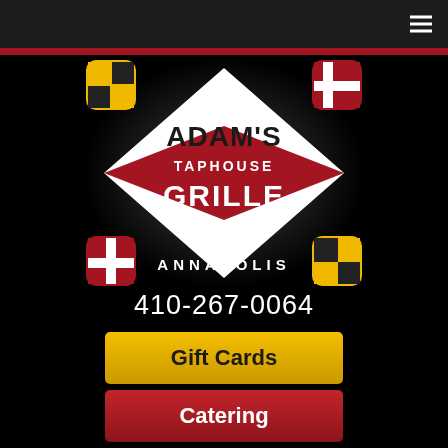[Figure (logo): Adam's Taphouse Grille Annapolis logo — diamond shape with Maryland flag colors, red and white, with 'ADAM'S' in black text, 'TAPHOUSE' in white on red bar, 'GRILLE' in large white text on dark background, 'ANNAPOLIS' in white text below]
410-267-0064
Gift Cards
Catering
[Figure (logo): Facebook icon — gray rounded square with white letter f]